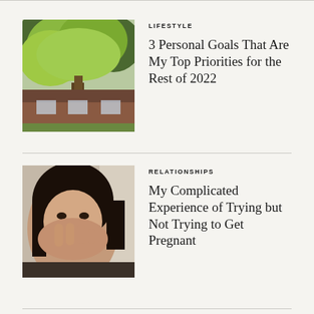[Figure (photo): Outdoor photo of a house with a large leafy green tree in the foreground, brick home visible behind]
LIFESTYLE
3 Personal Goals That Are My Top Priorities for the Rest of 2022
[Figure (photo): Close-up photo of a woman with dark hair covering her mouth with her hand, blurred background]
RELATIONSHIPS
My Complicated Experience of Trying but Not Trying to Get Pregnant